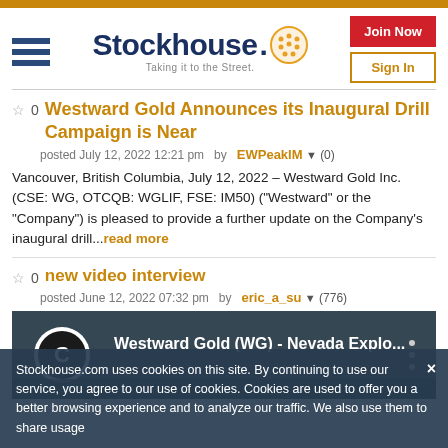Stockhouse - Taking it to the Street.
Westward Gold Announces its Inaugural Drill Campaign is Near
posted July 12, 2022 12:21 pm  by  EWPeakIM ▼ (0)
Vancouver, British Columbia, July 12, 2022 – Westward Gold Inc. (CSE: WG, OTCQB: WGLIF, FSE: IM50) ("Westward" or the "Company") is pleased to provide a further update on the Company's inaugural drill...read more
new video interview
posted June 12, 2022 07:32 pm  by  eric_a_su ▼ (776)
[Figure (screenshot): YouTube video thumbnail showing Westward Gold (WG) - Nevada Explo... with YouTube logo and options icon]
Stockhouse.com uses cookies on this site. By continuing to use our service, you agree to our use of cookies. Cookies are used to offer you a better browsing experience and to analyze our traffic. We also use them to share usage